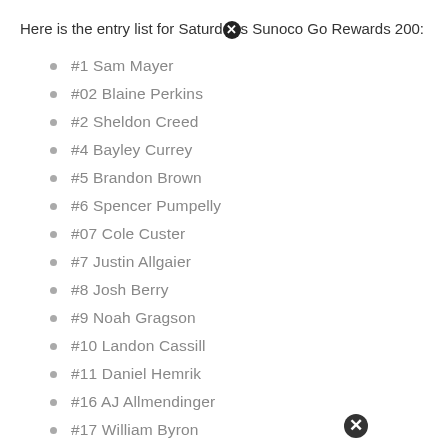Here is the entry list for Saturday's Sunoco Go Rewards 200:
#1 Sam Mayer
#02 Blaine Perkins
#2 Sheldon Creed
#4 Bayley Currey
#5 Brandon Brown
#6 Spencer Pumpelly
#07 Cole Custer
#7 Justin Allgaier
#8 Josh Berry
#9 Noah Gragson
#10 Landon Cassill
#11 Daniel Hemrik
#16 AJ Allmendinger
#17 William Byron
#18 Sammy Smith
#19 Brandon Jones
#21 Austin Hill